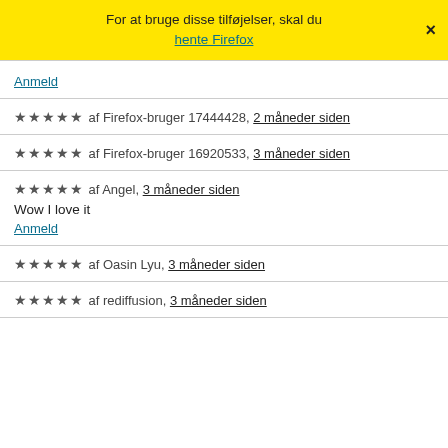For at bruge disse tilføjelser, skal du hente Firefox ×
Anmeld
★★★★★ af Firefox-bruger 17444428, 2 måneder siden
★★★★★ af Firefox-bruger 16920533, 3 måneder siden
★★★★★ af Angel, 3 måneder siden
Wow I love it
Anmeld
★★★★★ af Oasin Lyu, 3 måneder siden
★★★★★ af rediffusion, 3 måneder siden